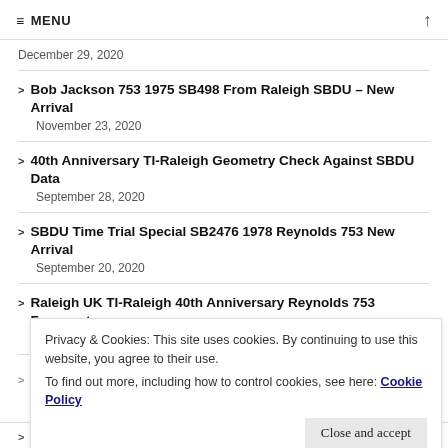≡ MENU ↑
December 29, 2020
Bob Jackson 753 1975 SB498 From Raleigh SBDU – New Arrival
November 23, 2020
40th Anniversary TI-Raleigh Geometry Check Against SBDU Data
September 28, 2020
SBDU Time Trial Special SB2476 1978 Reynolds 753 New Arrival
September 20, 2020
Raleigh UK TI-Raleigh 40th Anniversary Reynolds 753 Frameset
September 13, 2020
Privacy & Cookies: This site uses cookies. By continuing to use this website, you agree to their use.
To find out more, including how to control cookies, see here: Cookie Policy
SBDU Paint Preservation – SB9 1974 Cleaning the Original Paint